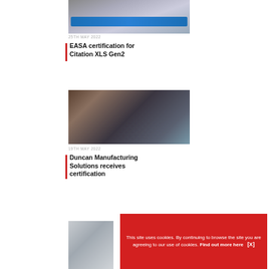[Figure (photo): Group of people holding a banner with a private jet illustration, likely at an aviation event]
25TH MAY 2022
EASA certification for Citation XLS Gen2
[Figure (photo): Industrial manufacturing scene showing large cylindrical autoclave chambers with workers inside a factory hall]
19TH MAY 2022
Duncan Manufacturing Solutions receives certification
[Figure (photo): Partial view of an aircraft in a manufacturing or hangar facility]
This site uses cookies. By continuing to browse the site you are agreeing to our use of cookies. Find out more here   [X]